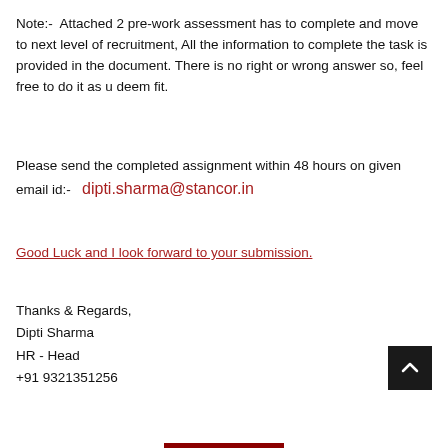Note:-  Attached 2 pre-work assessment has to complete and move to next level of recruitment, All the information to complete the task is provided in the document. There is no right or wrong answer so, feel free to do it as u deem fit.
Please send the completed assignment within 48 hours on given email id:-  dipti.sharma@stancor.in
Good Luck and I look forward to your submission.
Thanks & Regards,
Dipti Sharma
HR - Head
+91 9321351256